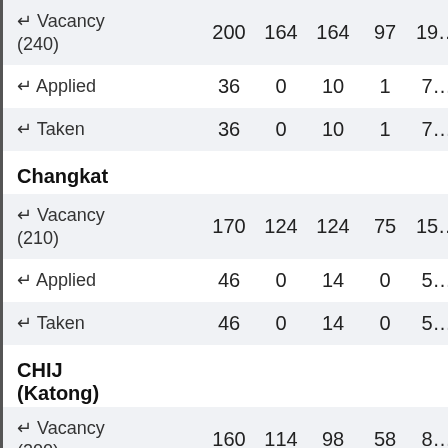|  | col1 | col2 | col3 | col4 | col5 |
| --- | --- | --- | --- | --- | --- |
| ↵ Vacancy (240) | 200 | 164 | 164 | 97 | 19… |
| ↵ Applied | 36 | 0 | 10 | 1 | 7… |
| ↵ Taken | 36 | 0 | 10 | 1 | 7… |
| Changkat |  |  |  |  |  |
| ↵ Vacancy (210) | 170 | 124 | 124 | 75 | 15… |
| ↵ Applied | 46 | 0 | 14 | 0 | 5… |
| ↵ Taken | 46 | 0 | 14 | 0 | 5… |
| CHIJ (Katong) |  |  |  |  |  |
| ↵ Vacancy (200) | 160 | 114 | 98 | 58 | 8… |
| ↵ Applied | 46 | 16 | 22 | 32 | 7… |
| ↵ Taken | 46 | 16 | 22 | 32 | 7… |